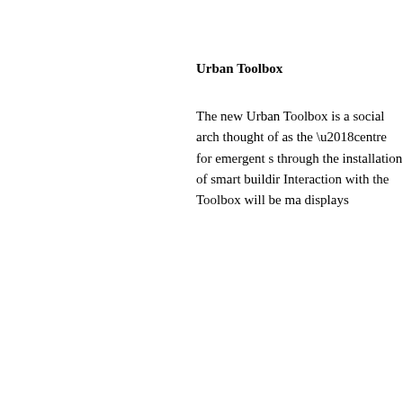Urban Toolbox
The new Urban Toolbox is a social arch thought of as the ‘centre for emergent s through the installation of smart buildir Interaction with the Toolbox will be ma displays